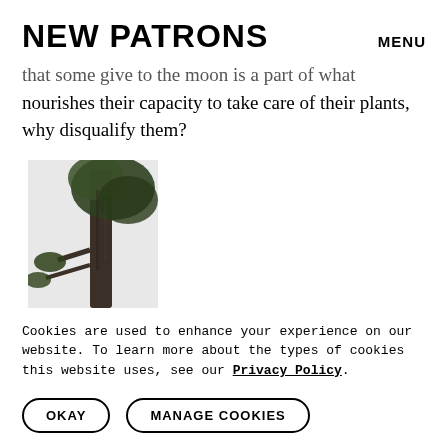NEW PATRONS   MENU
that some give to the moon is a part of what nourishes their capacity to take care of their plants, why disqualify them?
[Figure (photo): Partial photograph of a tree trunk and foliage, appearing cut off at the left and bottom edges.]
Cookies are used to enhance your experience on our website. To learn more about the types of cookies this website uses, see our Privacy Policy.
OKAY   MANAGE COOKIES